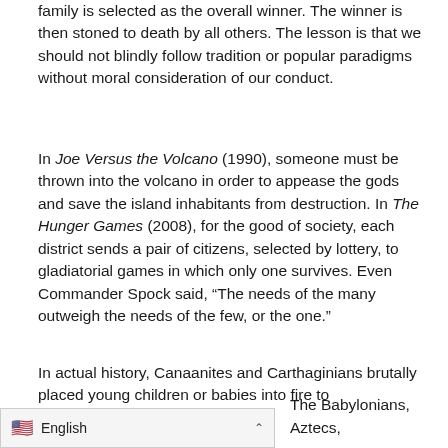family is selected as the overall winner. The winner is then stoned to death by all others. The lesson is that we should not blindly follow tradition or popular paradigms without moral consideration of our conduct.
In Joe Versus the Volcano (1990), someone must be thrown into the volcano in order to appease the gods and save the island inhabitants from destruction. In The Hunger Games (2008), for the good of society, each district sends a pair of citizens, selected by lottery, to gladiatorial games in which only one survives. Even Commander Spock said, “The needs of the many outweigh the needs of the few, or the one.”
In actual history, Canaanites and Carthaginians brutally placed young children or babies into fire to
The Babylonians, Aztecs,